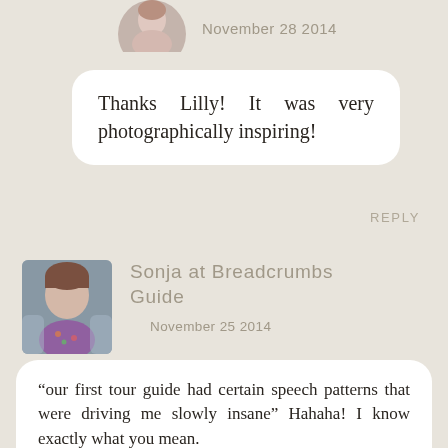[Figure (photo): Circular avatar photo of a woman, partially cropped at top]
November 28 2014
Thanks Lilly! It was very photographically inspiring!
REPLY
[Figure (photo): Small rectangular photo of a young woman with brown hair outdoors]
Sonja at Breadcrumbs Guide
November 25 2014
“our first tour guide had certain speech patterns that were driving me slowly insane” Hahaha! I know exactly what you mean.

And yeah, it is very hard to get a decent shot of myself without the self timer!